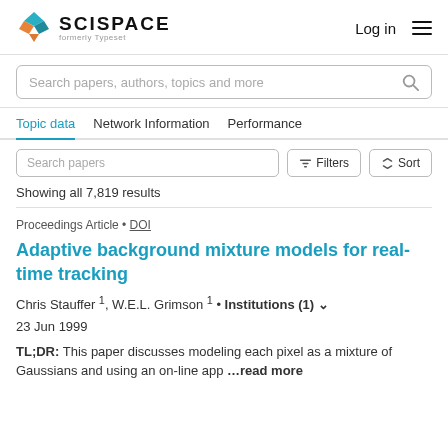[Figure (logo): SciSpace logo with teal/orange diamond shape icon and text 'SCISPACE formerly Typeset']
Log in  ≡
Search papers, authors, topics and more
Topic data   Network Information   Performance
Search papers   Filters   Sort
Showing all 7,819 results
Proceedings Article • DOI
Adaptive background mixture models for real-time tracking
Chris Stauffer 1, W.E.L. Grimson 1 • Institutions (1) ∨
23 Jun 1999
TL;DR: This paper discusses modeling each pixel as a mixture of Gaussians and using an on-line app ...read more